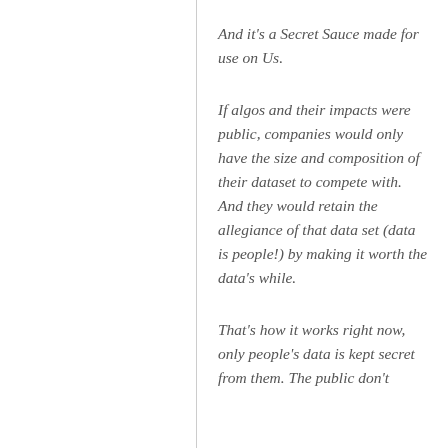And it's a Secret Sauce made for use on Us.
If algos and their impacts were public, companies would only have the size and composition of their dataset to compete with. And they would retain the allegiance of that data set (data is people!) by making it worth the data's while.
That's how it works right now, only people's data is kept secret from them. The public don't